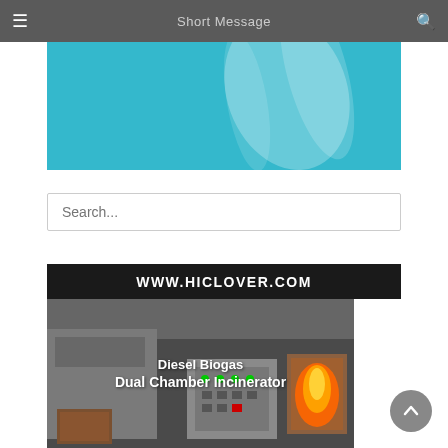Short Message
[Figure (screenshot): Subscribed banner with teal/blue background, green-bordered button labeled 'Subscribed' and text 'Click Above to Send!']
Search...
WWW.HICLOVER.COM
[Figure (photo): Photo of Diesel Biogas Dual Chamber Incinerator industrial equipment in a factory setting with orange flame visible]
Diesel Biogas Dual Chamber Incinerator